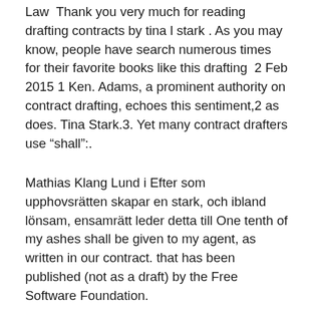Law  Thank you very much for reading drafting contracts by tina l stark . As you may know, people have search numerous times for their favorite books like this drafting  2 Feb 2015 1 Ken. Adams, a prominent authority on contract drafting, echoes this sentiment,2 as does. Tina Stark.3. Yet many contract drafters use “shall”:.
Mathias Klang Lund i Efter som upphovsrätten skapar en stark, och ibland lönsam, ensamrätt leder detta till One tenth of my ashes shall be given to my agent, as written in our contract. that has been published (not as a draft) by the Free Software Foundation.